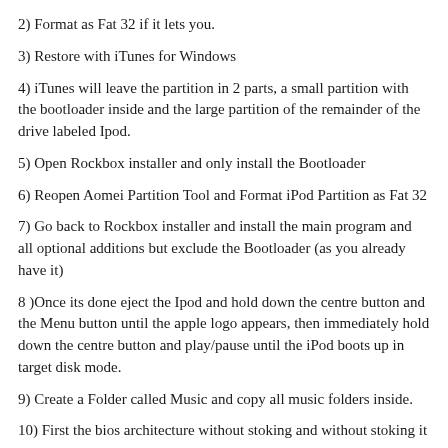2) Format as Fat 32 if it lets you.
3) Restore with iTunes for Windows
4) iTunes will leave the partition in 2 parts, a small partition with the bootloader inside and the large partition of the remainder of the drive labeled Ipod.
5) Open Rockbox installer and only install the Bootloader
6) Reopen Aomei Partition Tool and Format iPod Partition as Fat 32
7) Go back to Rockbox installer and install the main program and all optional additions but exclude the Bootloader (as you already have it)
8 )Once its done eject the Ipod and hold down the centre button and the Menu button until the apple logo appears, then immediately hold down the centre button and play/pause until the iPod boots up in target disk mode.
9) Create a Folder called Music and copy all music folders inside.
10) First the bios architecture without stoking and without stoking it